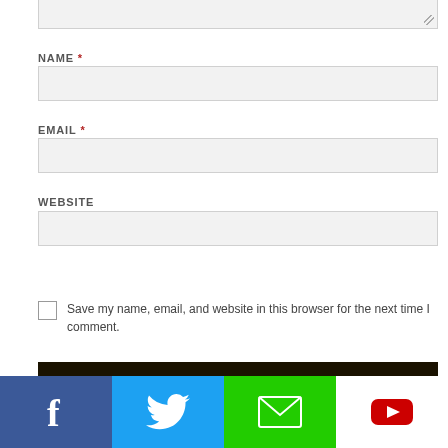NAME *
EMAIL *
WEBSITE
Save my name, email, and website in this browser for the next time I comment.
POST COMMENT